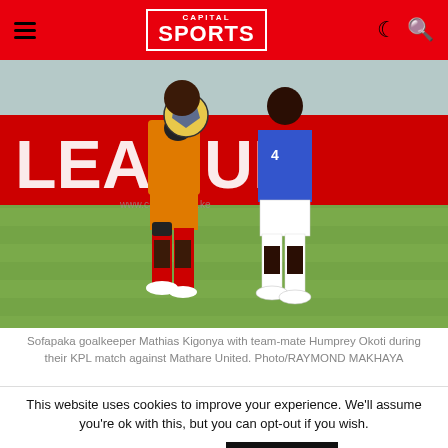Capital Sports
[Figure (photo): Two soccer players on a grass field in front of a red banner with 'LEAGUE' text. One player in orange jersey and red socks holds a soccer ball, the other in blue and white. Both wearing cleats.]
Sofapaka goalkeeper Mathias Kigonya with team-mate Humprey Okoti during their KPL match against Mathare United. Photo/RAYMOND MAKHAYA
This website uses cookies to improve your experience. We'll assume you're ok with this, but you can opt-out if you wish.